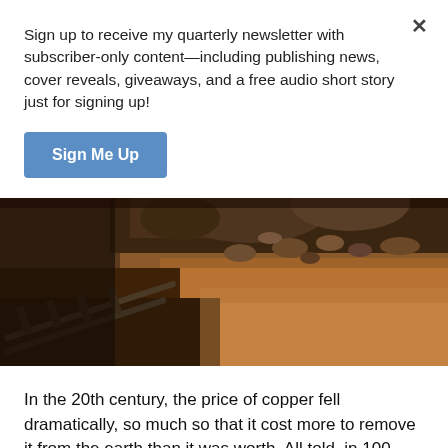Sign up to receive my quarterly newsletter with subscriber-only content—including publishing news, cover reveals, giveaways, and a free audio short story just for signing up!
Sign Me Up
[Figure (photo): Close-up photograph of copper mine interior showing rocky ore, rust-colored earth, and wooden mine rail tracks in a dark underground setting.]
In the 20th century, the price of copper fell dramatically, so much so that it cost more to remove it from the earth than it was worth. All told, in 100 years, Michigan's copper mines produced 11 billion